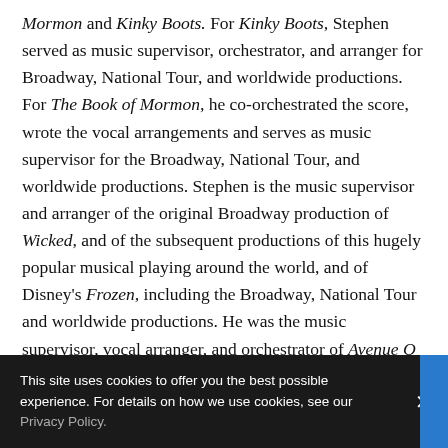Mormon and Kinky Boots. For Kinky Boots, Stephen served as music supervisor, orchestrator, and arranger for Broadway, National Tour, and worldwide productions. For The Book of Mormon, he co-orchestrated the score, wrote the vocal arrangements and serves as music supervisor for the Broadway, National Tour, and worldwide productions. Stephen is the music supervisor and arranger of the original Broadway production of Wicked, and of the subsequent productions of this hugely popular musical playing around the world, and of Disney's Frozen, including the Broadway, National Tour and worldwide productions. He was the music supervisor, vocal arranger, and orchestrator of Avenue Q for the Broadway, off-Broadway, London, and the National Tour productions. He was the music supervisor, vocal arranger and orchestrator of the Broadway musical adaptation of 9 to
This site uses cookies to offer you the best possible experience. For details on how we use cookies, see our Privacy Policy.